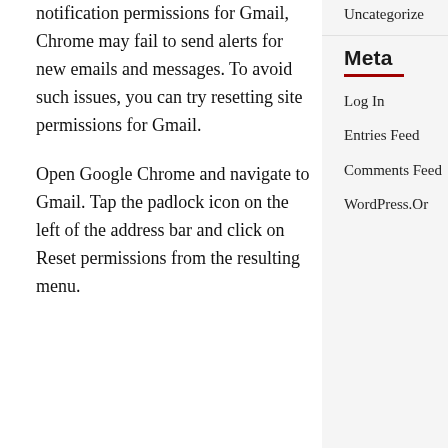notification permissions for Gmail, Chrome may fail to send alerts for new emails and messages. To avoid such issues, you can try resetting site permissions for Gmail.
Open Google Chrome and navigate to Gmail. Tap the padlock icon on the left of the address bar and click on Reset permissions from the resulting menu.
Uncategorize
Meta
Log In
Entries Feed
Comments Feed
WordPress.Or